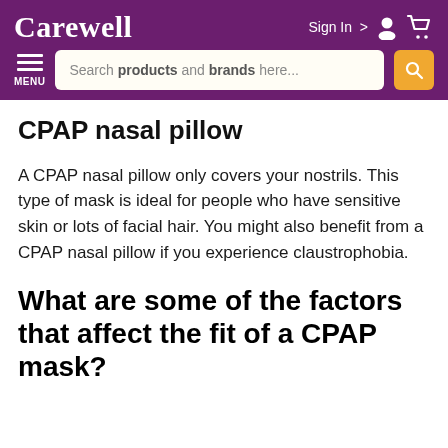Carewell | Sign In > [user icon] [cart icon] | MENU | Search products and brands here...
CPAP nasal pillow
A CPAP nasal pillow only covers your nostrils. This type of mask is ideal for people who have sensitive skin or lots of facial hair. You might also benefit from a CPAP nasal pillow if you experience claustrophobia.
What are some of the factors that affect the fit of a CPAP mask?